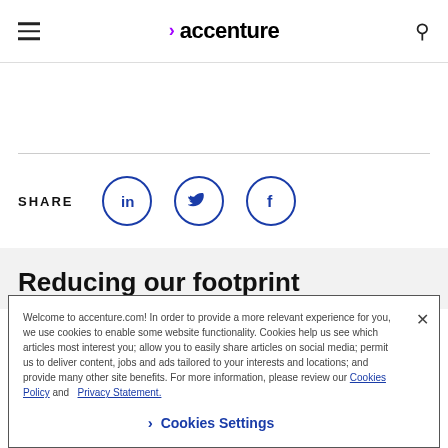accenture
[Figure (other): Social share section with SHARE label and three circular icon buttons for LinkedIn, Twitter, and Facebook]
Reducing our footprint
Welcome to accenture.com! In order to provide a more relevant experience for you, we use cookies to enable some website functionality. Cookies help us see which articles most interest you; allow you to easily share articles on social media; permit us to deliver content, jobs and ads tailored to your interests and locations; and provide many other site benefits. For more information, please review our Cookies Policy and Privacy Statement.
Cookies Settings